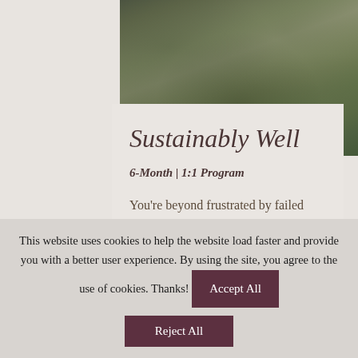[Figure (photo): Close-up photograph of green moss or ground cover vegetation, dark green/olive tones, densely textured surface]
Sustainably Well
6-Month | 1:1 Program
You're beyond frustrated by failed attempts to consistently manage
This website uses cookies to help the website load faster and provide you with a better user experience. By using the site, you agree to the use of cookies. Thanks!
Accept All
Reject All